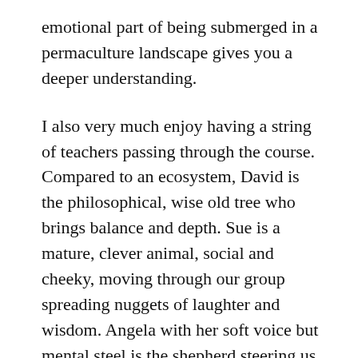emotional part of being submerged in a permaculture landscape gives you a deeper understanding.
I also very much enjoy having a string of teachers passing through the course. Compared to an ecosystem, David is the philosophical, wise old tree who brings balance and depth. Sue is a mature, clever animal, social and cheeky, moving through our group spreading nuggets of laughter and wisdom. Angela with her soft voice but mental steel is the shepherd steering us through the course, adding missing links of info when needed and maintaining the group structure. Beck with all her in depth knowledge of ecosystems and cycles keeps a